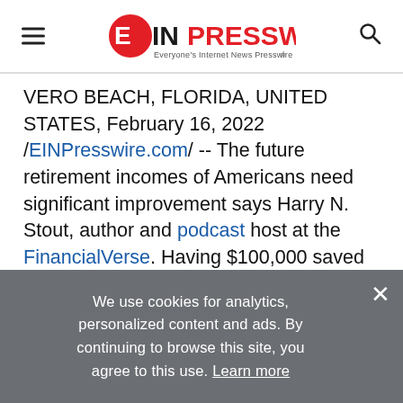EINPresswire — Everyone's Internet News Presswire
VERO BEACH, FLORIDA, UNITED STATES, February 16, 2022 /EINPresswire.com/ -- The future retirement incomes of Americans need significant improvement says Harry N. Stout, author and podcast host at the FinancialVerse. Having $100,000 saved in a 401k is not going to cut it to provide sufficient future household income in addition to projected Social Security retirement benefits. For the vast majority of households
We use cookies for analytics, personalized content and ads. By continuing to browse this site, you agree to this use. Learn more